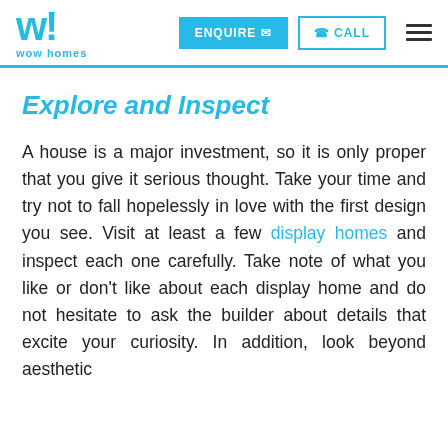wow homes — ENQUIRE | CALL
Explore and Inspect
A house is a major investment, so it is only proper that you give it serious thought. Take your time and try not to fall hopelessly in love with the first design you see. Visit at least a few display homes and inspect each one carefully. Take note of what you like or don't like about each display home and do not hesitate to ask the builder about details that excite your curiosity. In addition, look beyond aesthetic